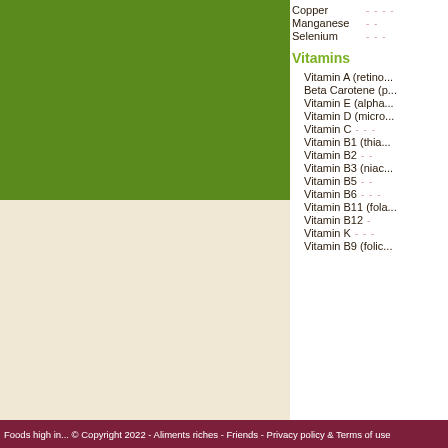[Figure (other): Green colored block (food image placeholder) in upper left]
[Figure (other): Cream/beige colored block in lower left]
Copper
Manganese
Selenium
Vitamins
Vitamin A (retino...
Beta Carotene (p...
Vitamin E (alpha...
Vitamin D (micro...
Vitamin C
Vitamin B1 (thia...
Vitamin B2
Vitamin B3 (niac...
Vitamin B5
Vitamin B6
Vitamin B11 (fola...
Vitamin B12
Vitamin K
Vitamin B9 (folic...
Foods high in... © Copyright 2022 - Aliments riches - Friends - Privacy policy & Terms of use